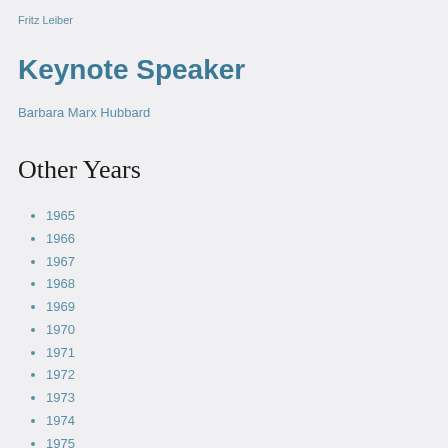Fritz Leiber
Keynote Speaker
Barbara Marx Hubbard
Other Years
1965
1966
1967
1968
1969
1970
1971
1972
1973
1974
1975
1976
1977